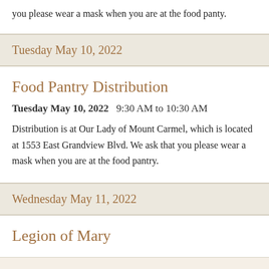you please wear a mask when you are at the food panty.
Tuesday May 10, 2022
Food Pantry Distribution
Tuesday May 10, 2022   9:30 AM to 10:30 AM
Distribution is at Our Lady of Mount Carmel, which is located at 1553 East Grandview Blvd. We ask that you please wear a mask when you are at the food pantry.
Wednesday May 11, 2022
Legion of Mary